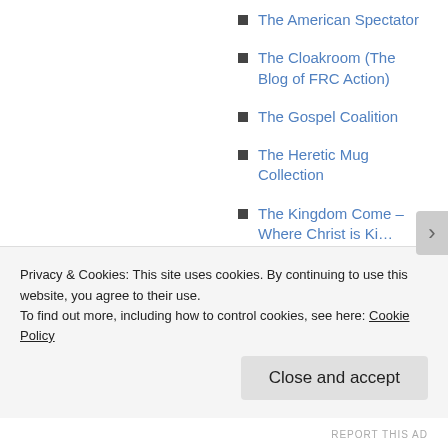The American Spectator
The Cloakroom (The Blog of FRC Action)
The Gospel Coalition
The Heretic Mug Collection
The Kingdom Come – Where Christ is Ki…
Privacy & Cookies: This site uses cookies. By continuing to use this website, you agree to their use.
To find out more, including how to control cookies, see here: Cookie Policy
Close and accept
REPORT THIS AD